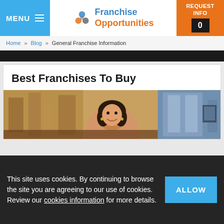MENU | Franchise Opportunities | REQUEST INFO 0
Home » Blog » General Franchise Information
Best Franchises To Buy
[Figure (photo): Woman smiling in a cafe/franchise store setting, standing behind a glass display counter]
This site uses cookies. By continuing to browse the site you are agreeing to our use of cookies. Review our cookies information for more details.